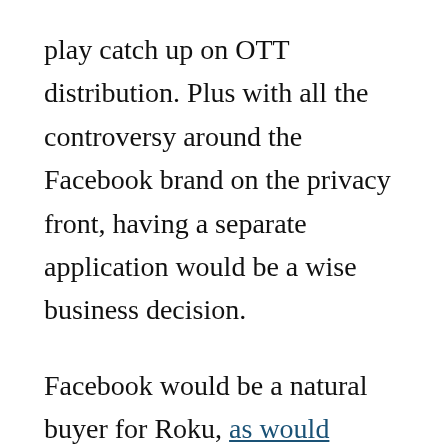play catch up on OTT distribution. Plus with all the controversy around the Facebook brand on the privacy front, having a separate application would be a wise business decision.
Facebook would be a natural buyer for Roku, as would Walmart or Disney.
Infighting
Tech companies have had rounds of